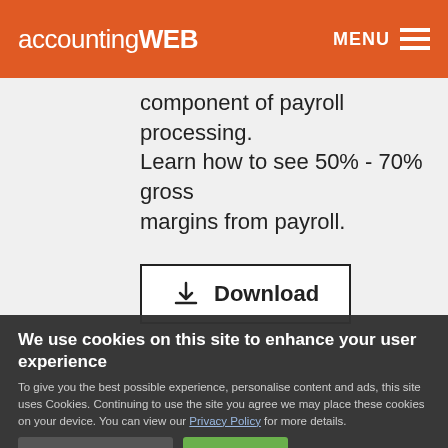accountingWEB  MENU
component of payroll processing. Learn how to see 50% - 70% gross margins from payroll.
Download
We use cookies on this site to enhance your user experience
To give you the best possible experience, personalise content and ads, this site uses Cookies. Continuing to use the site you agree we may place these cookies on your device. You can view our Privacy Policy for more details.
No, give me more info
OK, I agree